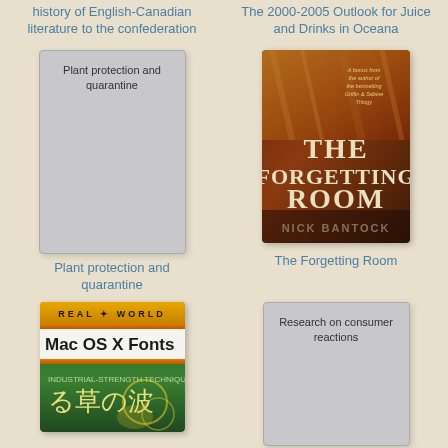history of English-Canadian literature to the confederation
The 2000-2005 Outlook for Juice and Drinks in Oceana
[Figure (illustration): Placeholder book cover for Plant protection and quarantine]
[Figure (photo): Book cover of The Forgetting Room by Nick Bantock, dark reddish-brown cover with large text]
Plant protection and quarantine
The Forgetting Room
[Figure (photo): Book cover: Real World Mac OS X Fonts, yellow/orange cover with Japanese characters]
[Figure (illustration): Placeholder book cover for Research on consumer reactions]
Research on consumer reactions